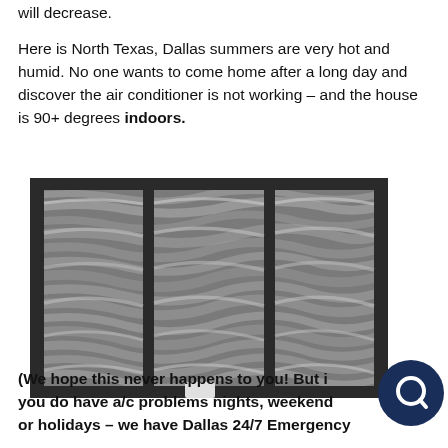will decrease.
Here is North Texas, Dallas summers are very hot and humid. No one wants to come home after a long day and discover the air conditioner is not working – and the house is 90+ degrees indoors.
[Figure (photo): Close-up grayscale photo of a heavily dust-clogged air conditioning filter with a metal grid frame, showing thick layers of accumulated gray dust and debris across the filter surface.]
(We hope this never happens to you! But if you do have a/c problems nights, weekends or holidays – we have Dallas 24/7 Emergency